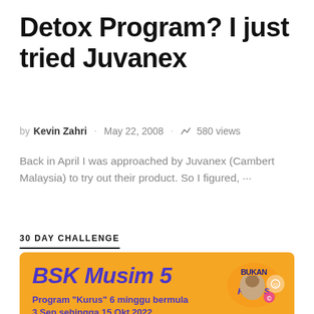Detox Program? I just tried Juvanex
by Kevin Zahri · May 22, 2008 · 580 views
Back in April I was approached by Juvanex (Cambert Malaysia) to try out their product. So I figured, ···
30 DAY CHALLENGE
[Figure (illustration): Orange promotional card for BSK Musim 5 showing purple bold italic text 'BSK Musim 5', subtitle 'Program "Kurus" 6 minggu bermula 3 Sep sehingga 15 Okt 2022.', a colorful logo 'Bukan Soal Kurus' in top right, and a person's head visible at bottom right.]